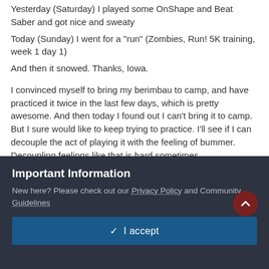Yesterday (Saturday) I played some OnShape and Beat Saber and got nice and sweaty
Today (Sunday) I went for a "run" (Zombies, Run! 5K training, week 1 day 1)
And then it snowed. Thanks, Iowa.
I convinced myself to bring my berimbau to camp, and have practiced it twice in the last few days, which is pretty awesome. And then today I found out I can't bring it to camp. But I sure would like to keep trying to practice. I'll see if I can decouple the act of playing it with the feeling of bummer. Decoupling feelings like that is hard sometimes.
So, plan for monday:
Wake up in time for breakfast, and eat breakfast
After work meditation or something calming because it's gonna be a long
Important Information
New here? Please check out our Privacy Policy and Community Guidelines
✓  I accept